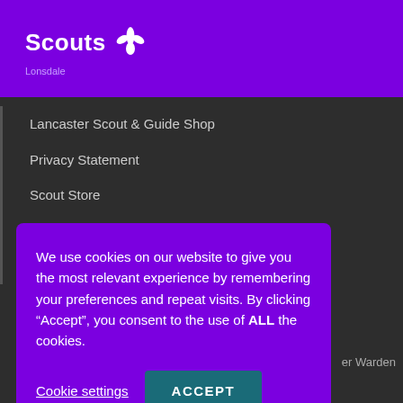Scouts Lonsdale
Lancaster Scout & Guide Shop
Privacy Statement
Scout Store
Scouts UK
West Lancashire Scouts
We use cookies on our website to give you the most relevant experience by remembering your preferences and repeat visits. By clicking “Accept”, you consent to the use of ALL the cookies.
Cookie settings | ACCEPT
Scouts' Christmas Post 2021
er Warden